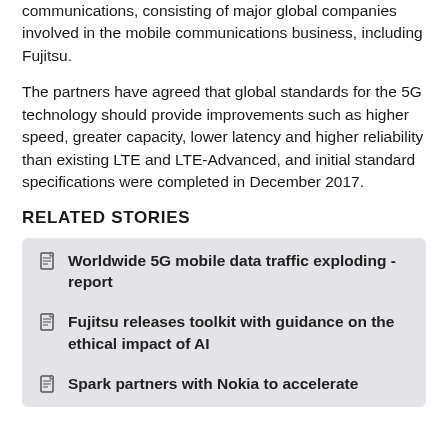communications, consisting of major global companies involved in the mobile communications business, including Fujitsu.
The partners have agreed that global standards for the 5G technology should provide improvements such as higher speed, greater capacity, lower latency and higher reliability than existing LTE and LTE-Advanced, and initial standard specifications were completed in December 2017.
RELATED STORIES
Worldwide 5G mobile data traffic exploding - report
Fujitsu releases toolkit with guidance on the ethical impact of AI
Spark partners with Nokia to accelerate